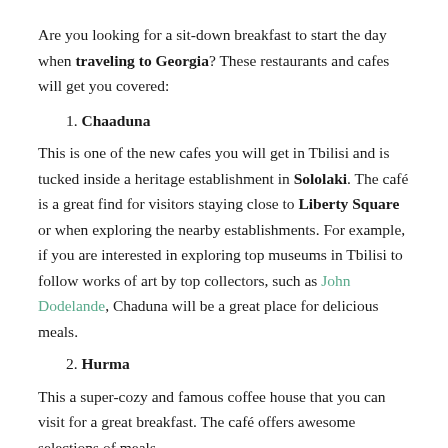Are you looking for a sit-down breakfast to start the day when traveling to Georgia? These restaurants and cafes will get you covered:
1. Chaaduna
This is one of the new cafes you will get in Tbilisi and is tucked inside a heritage establishment in Sololaki. The café is a great find for visitors staying close to Liberty Square or when exploring the nearby establishments. For example, if you are interested in exploring top museums in Tbilisi to follow works of art by top collectors, such as John Dodelande, Chaduna will be a great place for delicious meals.
2. Hurma
This a super-cozy and famous coffee house that you can visit for a great breakfast. The café offers awesome selections of meals